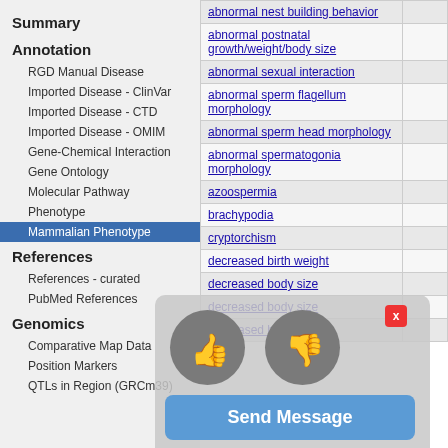Summary
Annotation
RGD Manual Disease
Imported Disease - ClinVar
Imported Disease - CTD
Imported Disease - OMIM
Gene-Chemical Interaction
Gene Ontology
Molecular Pathway
Phenotype
Mammalian Phenotype
References
References - curated
PubMed References
Genomics
Comparative Map Data
Position Markers
QTLs in Region (GRCm39)
| Term |  |
| --- | --- |
| abnormal nest building behavior |  |
| abnormal postnatal growth/weight/body size |  |
| abnormal sexual interaction |  |
| abnormal sperm flagellum morphology |  |
| abnormal sperm head morphology |  |
| abnormal spermatogonia morphology |  |
| azoospermia |  |
| brachypodia |  |
| cryptorchism |  |
| decreased birth weight |  |
| decreased body size |  |
| decreased body size |  |
| decreased body |  |